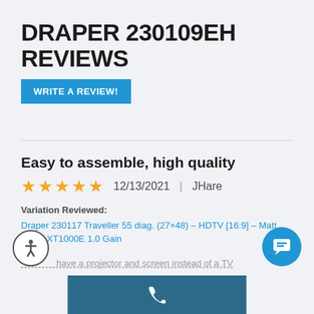DRAPER 230109EH REVIEWS
WRITE A REVIEW!
Easy to assemble, high quality
★★★★★  12/13/2021  |  JHare
Variation Reviewed:
Draper 230117 Traveller 55 diag. (27×48) – HDTV [16:9] – Matt White XT1000E 1.0 Gain
…have a projector and screen instead of a TV…